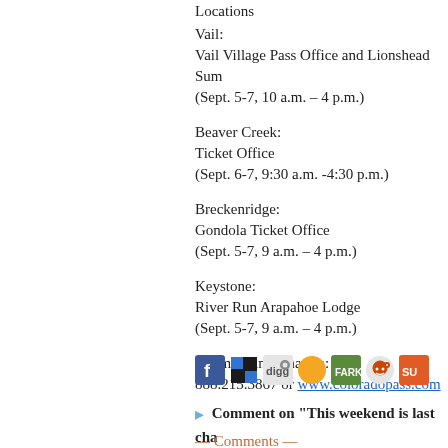Locations
Vail:
Vail Village Pass Office and Lionshead Summ…
(Sept. 5-7, 10 a.m. – 4 p.m.)
Beaver Creek:
Ticket Office
(Sept. 6-7, 9:30 a.m. -4:30 p.m.)
Breckenridge:
Gondola Ticket Office
(Sept. 5-7, 9 a.m. – 4 p.m.)
Keystone:
River Run Arapahoe Lodge
(Sept. 5-7, 9 a.m. – 4 p.m.)
For more information:
888.215.3867 or www.coloradopass.com
[Figure (infographic): Social media sharing icons: Facebook, Delicious, Digg, Newsvine/dot, Fark, Reddit, StumbleUpon]
Comment on "This weekend is last cha… bargain prices" using the form below
— Comments —